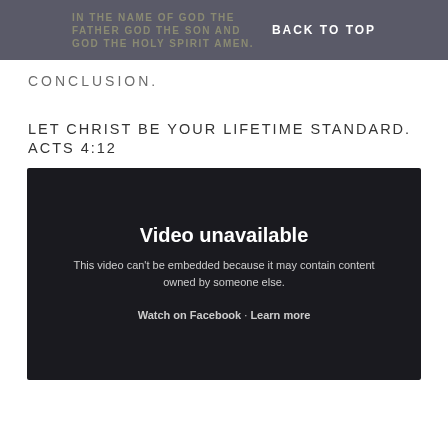IN THE NAME OF GOD THE FATHER GOD THE SON AND GOD THE HOLY SPIRIT AMEN.
CONCLUSION.
LET CHRIST BE YOUR LIFETIME STANDARD. ACTS 4:12
[Figure (screenshot): Embedded video player showing 'Video unavailable' message. Text reads: 'This video can't be embedded because it may contain content owned by someone else. Watch on Facebook · Learn more']